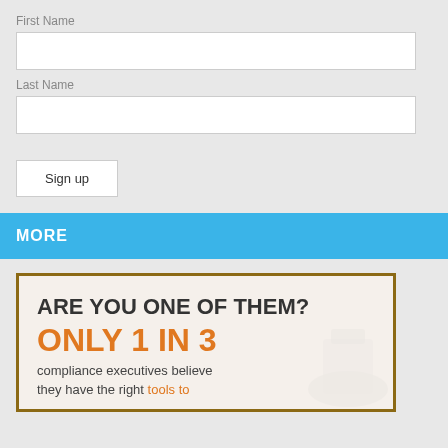First Name
Last Name
Sign up
MORE
[Figure (infographic): Promotional card with wood-frame border. Text reads: ARE YOU ONE OF THEM? ONLY 1 IN 3 compliance executives believe they have the right tools to]
ARE YOU ONE OF THEM? ONLY 1 IN 3 compliance executives believe they have the right tools to